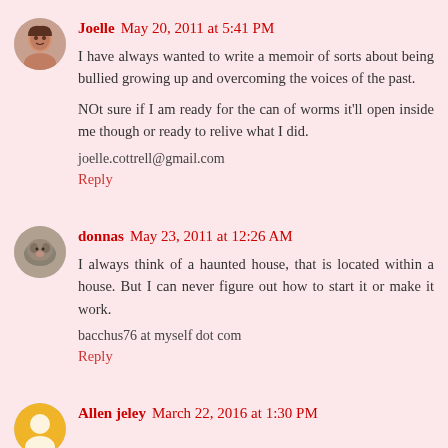[Figure (photo): Avatar photo of Joelle, a woman with short brown hair]
Joelle May 20, 2011 at 5:41 PM
I have always wanted to write a memoir of sorts about being bullied growing up and overcoming the voices of the past.
NOt sure if I am ready for the can of worms it'll open inside me though or ready to relive what I did.
joelle.cottrell@gmail.com
Reply
[Figure (photo): Avatar photo of donnas, a cat lying down]
donnas May 23, 2011 at 12:26 AM
I always think of a haunted house, that is located within a house. But I can never figure out how to start it or make it work.
bacchus76 at myself dot com
Reply
[Figure (illustration): Generic user avatar icon, yellow/orange circle with silhouette]
Allen jeley March 22, 2016 at 1:30 PM